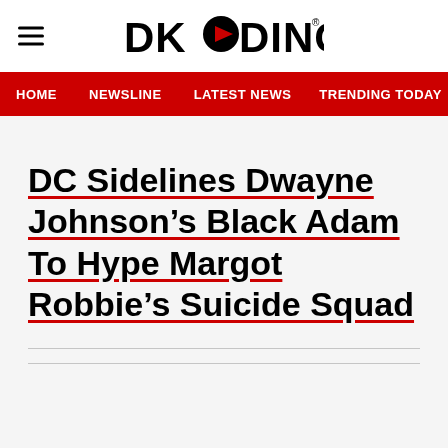DKODING
HOME  NEWSLINE  LATEST NEWS  TRENDING TODAY  ENT
DC Sidelines Dwayne Johnson’s Black Adam To Hype Margot Robbie’s Suicide Squad